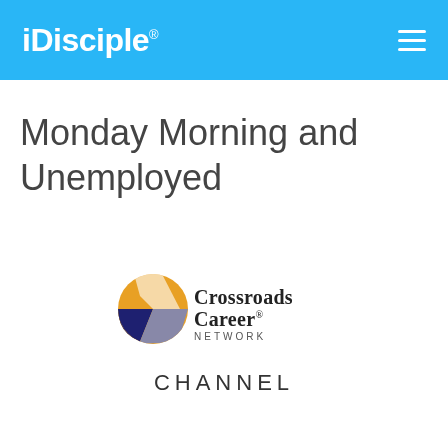iDisciple®
Monday Morning and Unemployed
[Figure (logo): Crossroads Career Network logo — circular icon with orange, white, and dark navy/purple chevron segments, followed by text 'Crossroads Career® NETWORK' and below it 'CHANNEL']